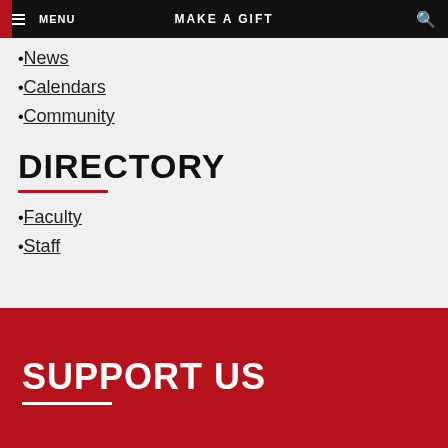MENU   MAKE A GIFT   [search]
News
Calendars
Community
DIRECTORY
Faculty
Staff
SUPPORT US